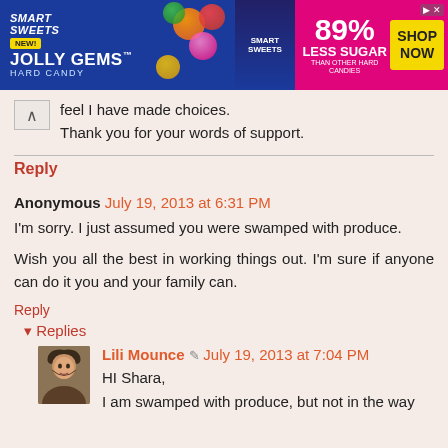[Figure (photo): Smart Sweets Jolly Gems Hard Candy advertisement banner. Blue left side with Smart Sweets logo and Jolly Gems Hard Candy text with NEW badge. Pink right side with 89% Less Sugar text and yellow Shop Now button.]
feel I have made choices.
Thank you for your words of support.
Reply
Anonymous  July 19, 2013 at 6:31 PM
I'm sorry. I just assumed you were swamped with produce.
Wish you all the best in working things out. I'm sure if anyone can do it you and your family can.
Reply
▾ Replies
Lili Mounce  July 19, 2013 at 7:04 PM
HI Shara,
I am swamped with produce, but not in the way